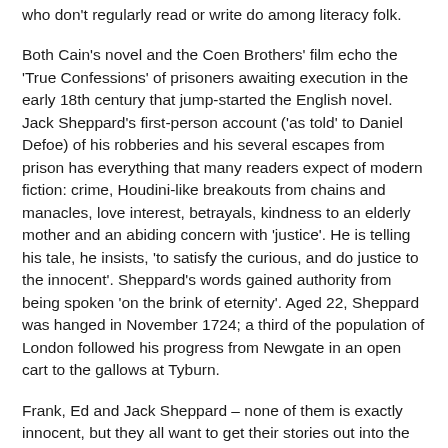who don't regularly read or write do among literacy folk.
Both Cain's novel and the Coen Brothers' film echo the 'True Confessions' of prisoners awaiting execution in the early 18th century that jump-started the English novel. Jack Sheppard's first-person account ('as told' to Daniel Defoe) of his robberies and his several escapes from prison has everything that many readers expect of modern fiction: crime, Houdini-like breakouts from chains and manacles, love interest, betrayals, kindness to an elderly mother and an abiding concern with 'justice'. He is telling his tale, he insists, 'to satisfy the curious, and do justice to the innocent'. Sheppard's words gained authority from being spoken 'on the brink of eternity'. Aged 22, Sheppard was hanged in November 1724; a third of the population of London followed his progress from Newgate in an open cart to the gallows at Tyburn.
Frank, Ed and Jack Sheppard – none of them is exactly innocent, but they all want to get their stories out into the world and they trust the written word to do them justice. Not legal justice, which is hit-or-miss: except in books, most rapists, murderers and corrupt politicians aren't even brought